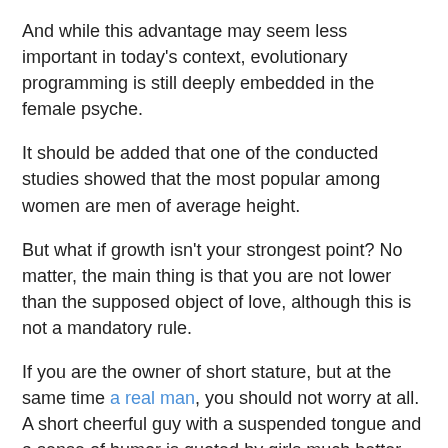And while this advantage may seem less important in today's context, evolutionary programming is still deeply embedded in the female psyche.
It should be added that one of the conducted studies showed that the most popular among women are men of average height.
But what if growth isn't your strongest point? No matter, the main thing is that you are not lower than the supposed object of love, although this is not a mandatory rule.
If you are the owner of short stature, but at the same time a real man, you should not worry at all. A short cheerful guy with a suspended tongue and a sense of humor is quoted by girls much better than a sullen high Jock.